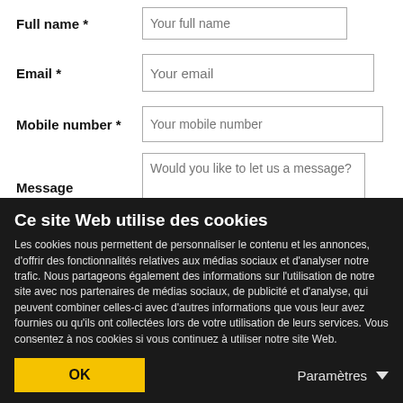Full name * Your full name
Email * Your email
Mobile number * Your mobile number
Message Would you like to let us a message?
I would like to subscribe to the newsletter
By submitting this form, I agree that this data may be used
Ce site Web utilise des cookies
Les cookies nous permettent de personnaliser le contenu et les annonces, d'offrir des fonctionnalités relatives aux médias sociaux et d'analyser notre trafic. Nous partageons également des informations sur l'utilisation de notre site avec nos partenaires de médias sociaux, de publicité et d'analyse, qui peuvent combiner celles-ci avec d'autres informations que vous leur avez fournies ou qu'ils ont collectées lors de votre utilisation de leurs services. Vous consentez à nos cookies si vous continuez à utiliser notre site Web.
OK
Paramètres